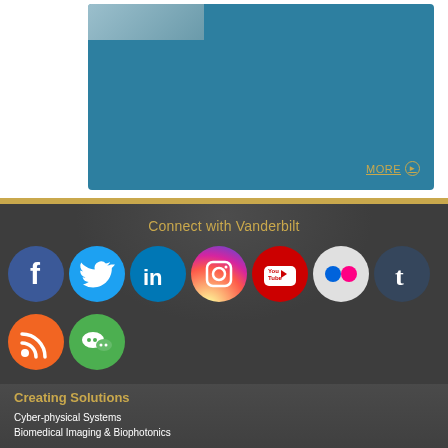[Figure (screenshot): Teal/blue content box with a small thumbnail image in the top-left corner and a MORE link with arrow in the bottom-right]
MORE ▶
Connect with Vanderbilt
[Figure (infographic): Row of social media icons: Facebook, Twitter, LinkedIn, Instagram, YouTube, Flickr, Tumblr; second row: RSS, WeChat]
Creating Solutions
Cyber-physical Systems
Biomedical Imaging & Biophotonics
Rehabilitation Engineering
Nanoscience and Nanotechnology
Risk, Reliability and Resilience